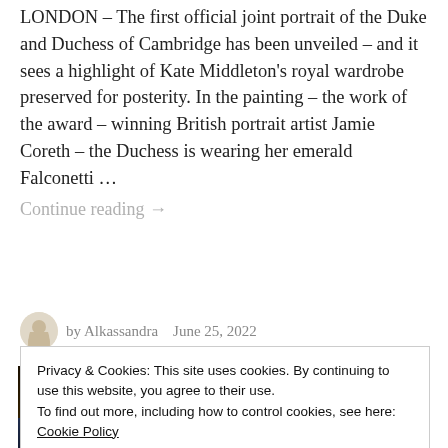LONDON – The first official joint portrait of the Duke and Duchess of Cambridge has been unveiled – and it sees a highlight of Kate Middleton's royal wardrobe preserved for posterity. In the painting – the work of the award – winning British portrait artist Jamie Coreth – the Duchess is wearing her emerald Falconetti … Continue reading →
by Alkassandra   June 25, 2022
[Figure (photo): Photograph showing ornate golden lamp fixtures or chandeliers with bright warm light against a dark background, with a dark blue element visible]
Privacy & Cookies: This site uses cookies. By continuing to use this website, you agree to their use.
To find out more, including how to control cookies, see here: Cookie Policy
Close and accept